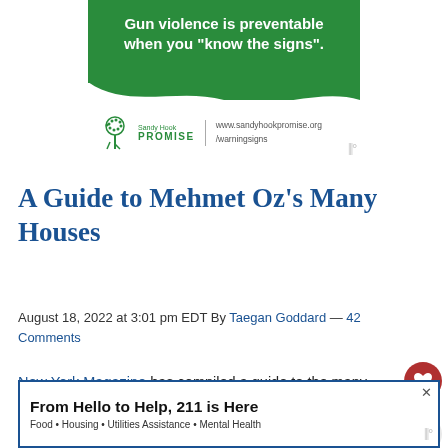[Figure (illustration): Sandy Hook Promise advertisement with green background. Text reads 'Gun violence is preventable when you "know the signs".' with Sandy Hook Promise logo and website www.sandyhookpromise.org/warningsigns]
A Guide to Mehmet Oz’s Many Houses
August 18, 2022 at 3:01 pm EDT By Taegan Goddard — 42 Comments
New York Magazine has compiled a guide to the many houses Pennsylvania U.S. Senate candidate Mehmet (R) apparently forgot he owned.
[Figure (illustration): Bottom banner advertisement: 'From Hello to Help, 211 is Here' Food • Housing • Utilities Assistance • Mental Health]